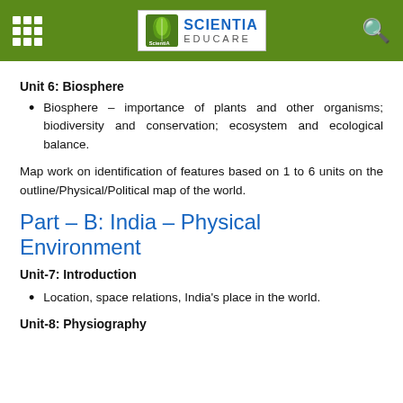Scientia Educare
Unit 6: Biosphere
Biosphere – importance of plants and other organisms; biodiversity and conservation; ecosystem and ecological balance.
Map work on identification of features based on 1 to 6 units on the outline/Physical/Political map of the world.
Part – B: India – Physical Environment
Unit-7: Introduction
Location, space relations, India's place in the world.
Unit-8: Physiography